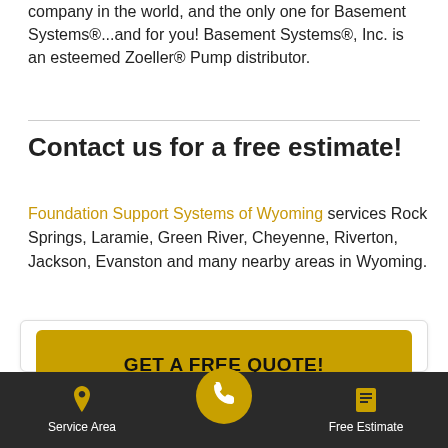company in the world, and the only one for Basement Systems®...and for you! Basement Systems®, Inc. is an esteemed Zoeller® Pump distributor.
Contact us for a free estimate!
Foundation Support Systems of Wyoming services Rock Springs, Laramie, Green River, Cheyenne, Riverton, Jackson, Evanston and many nearby areas in Wyoming.
[Figure (other): Yellow GET A FREE QUOTE! button inside a card panel]
Related Pages:
Service Area | [phone call button] | Free Estimate